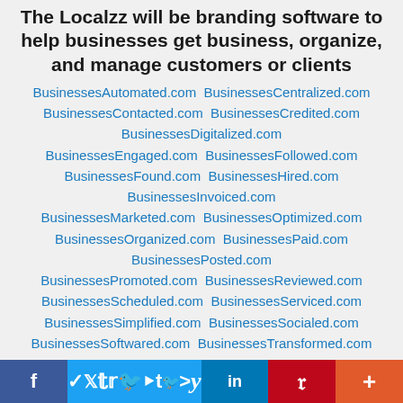The Localzz will be branding software to help businesses get business, organize, and manage customers or clients
BusinessesAutomated.com  BusinessesCentralized.com
BusinessesContacted.com  BusinessesCredited.com
BusinessesDigitalized.com
BusinessesEngaged.com  BusinessesFollowed.com
BusinessesFound.com  BusinessesHired.com
BusinessesInvoiced.com
BusinessesMarketed.com  BusinessesOptimized.com
BusinessesOrganized.com  BusinessesPaid.com
BusinessesPosted.com
BusinessesPromoted.com  BusinessesReviewed.com
BusinessesScheduled.com  BusinessesServiced.com
BusinessesSimplified.com  BusinessesSocialed.com
BusinessesSoftwared.com  BusinessesTransformed.com

CustomersCentralized.com  CustomersDigitalized.com
f  Twitter  in  Pinterest  More